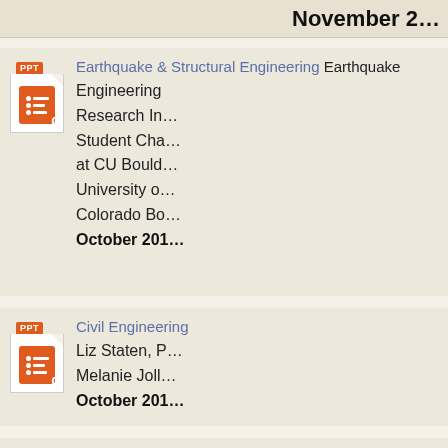November 2…
Earthquake & Structural Engineering — Earthquake Engineering Research In… Student Cha… at CU Bould… University o… Colorado Bo… October 201…
Civil Engineering — Liz Staten, P… Melanie Joll… October 201…